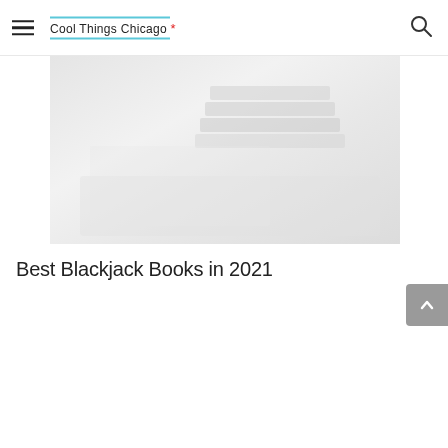Cool Things Chicago *
[Figure (photo): Faded/washed-out photo of stacked books on a light background]
Best Blackjack Books in 2021